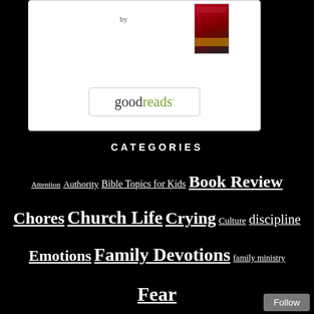[Figure (screenshot): Goodreads widget box with 'by' text, book thumbnail, and goodreads button]
CATEGORIES
Attention Authority Bible Topics for Kids Book Review Chores Church Life Crying Culture discipline Emotions Family Devotions family ministry Fear Getting Along Grace and Love Humility Lying Mealtime Mentoring Mercy obedience Potty Training Practical Parenting Prayer Preaching to Self
[Figure (screenshot): Follow button overlay in bottom right corner]